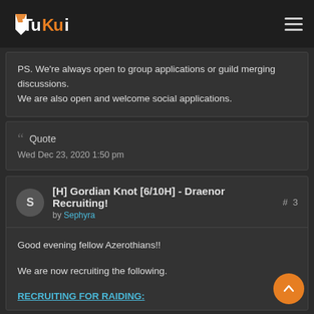TuKui
PS. We're always open to group applications or guild merging discussions.
We are also open and welcome social applications.
Quote
Wed Dec 23, 2020 1:50 pm
[H] Gordian Knot [6/10H] - Draenor Recruiting! # 3 by Sephyra
Good evening fellow Azerothians!!

We are now recruiting the following.

RECRUITING FOR RAIDING: